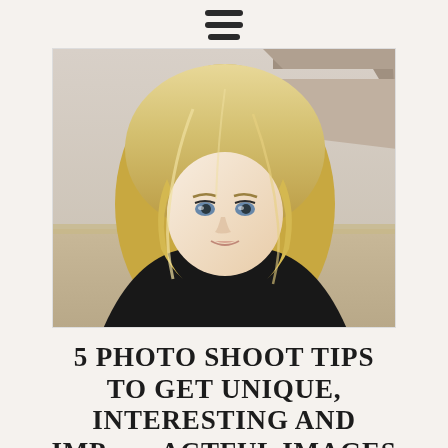[Figure (other): Hamburger menu icon with three horizontal lines at top center of page]
[Figure (photo): Portrait photo of a young blonde woman with long hair and blue eyes, wearing a black top, photographed outdoors with rocky buttes and dry landscape in the background]
5 PHOTO SHOOT TIPS TO GET UNIQUE, INTERESTING AND IMPACTFUL IMAGES